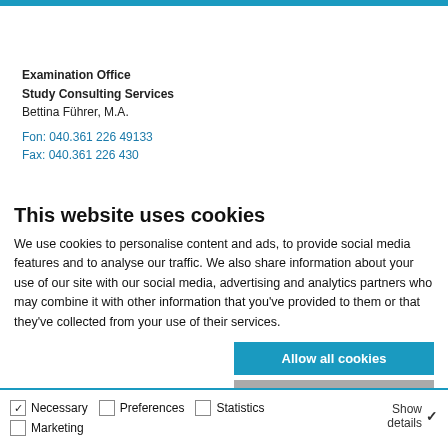Examination Office
Study Consulting Services
Bettina Führer, M.A.

Fon: 040.361 226 49133
Fax: 040.361 226 430
This website uses cookies
We use cookies to personalise content and ads, to provide social media features and to analyse our traffic. We also share information about your use of our site with our social media, advertising and analytics partners who may combine it with other information that you've provided to them or that they've collected from your use of their services.
Allow all cookies
Allow selection
Use necessary cookies only
☑ Necessary  ☐ Preferences  ☐ Statistics  ☐ Marketing  Show details ∨